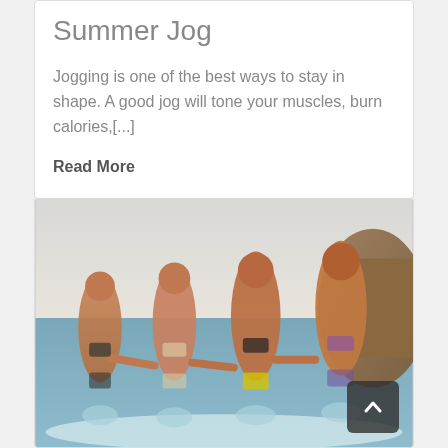Summer Jog
Jogging is one of the best ways to stay in shape. A good jog will tone your muscles, burn calories,[...]
Read More
[Figure (photo): Four women in bikinis running and holding hands through shallow beach water, with rocky coastline in the background. A scroll-to-top button with an upward chevron is overlaid in the bottom-right area of the image.]